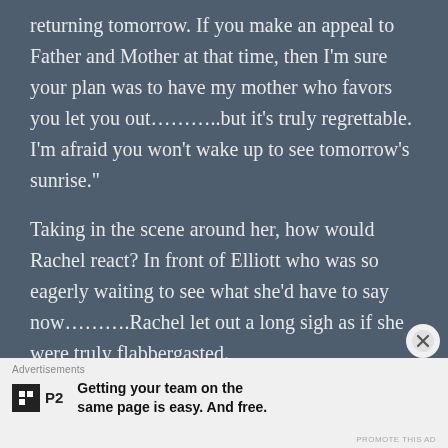returning tomorrow. If you make an appeal to Father and Mother at that time, then I’m sure your plan was to have my mother who favors you let you out……….but it’s truly regrettable. I’m afraid you won’t wake up to see tomorrow’s sunrise.”
Taking in the scene around her, how would Rachel react? In front of Elliott who was so eagerly waiting to see what she’d have to say now……….Rachel let out a long sigh as if she were truly flabbergasted.
“And here I thought His Highness was finally thinking a little harder………..”
Advertisements
Getting your team on the same page is easy. And free.